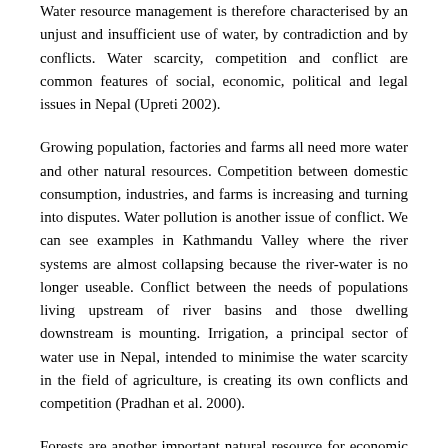Water resource management is therefore characterised by an unjust and insufficient use of water, by contradiction and by conflicts. Water scarcity, competition and conflict are common features of social, economic, political and legal issues in Nepal (Upreti 2002).
Growing population, factories and farms all need more water and other natural resources. Competition between domestic consumption, industries, and farms is increasing and turning into disputes. Water pollution is another issue of conflict. We can see examples in Kathmandu Valley where the river systems are almost collapsing because the river-water is no longer useable. Conflict between the needs of populations living upstream of river basins and those dwelling downstream is mounting. Irrigation, a principal sector of water use in Nepal, intended to minimise the water scarcity in the field of agriculture, is creating its own conflicts and competition (Pradhan et al. 2000).
Forests are another important natural resource for economic and social [page 77] development. Forest resources are one of the major resources directly contributing to the survival of rural people in Nepal. Forest resources directly fulfil forest-